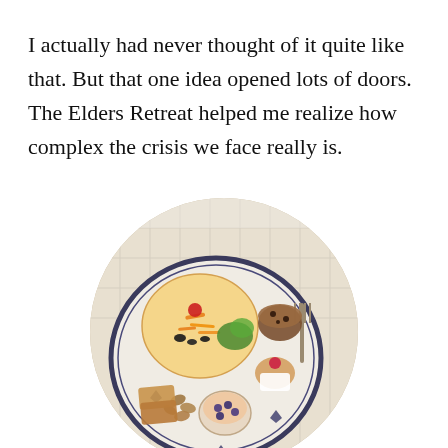I actually had never thought of it quite like that. But that one idea opened lots of doors. The Elders Retreat helped me realize how complex the crisis we face really is.
[Figure (photo): Oval-cropped top-down photograph of a plate of food including a tortilla with shredded cheese and toppings, salad greens, a muffin, a roll, a small cup of fruit/yogurt, nuts, bread slices, and a fork, on a table with a white tablecloth.]